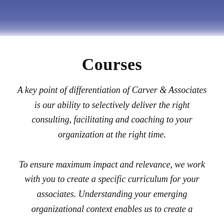[Figure (photo): Blue/purple gradient header banner with faint background photo texture]
Courses
A key point of differentiation of Carver & Associates is our ability to selectively deliver the right consulting, facilitating and coaching to your organization at the right time.
To ensure maximum impact and relevance, we work with you to create a specific curriculum for your associates. Understanding your emerging organizational context enables us to create a